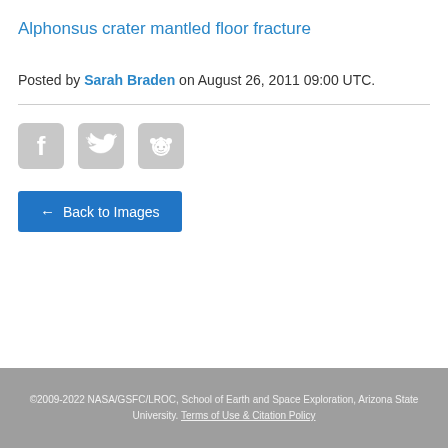Alphonsus crater mantled floor fracture
Posted by Sarah Braden on August 26, 2011 09:00 UTC.
[Figure (other): Social sharing icons: Facebook, Twitter, Reddit]
← Back to Images
©2009-2022 NASA/GSFC/LROC, School of Earth and Space Exploration, Arizona State University. Terms of Use & Citation Policy